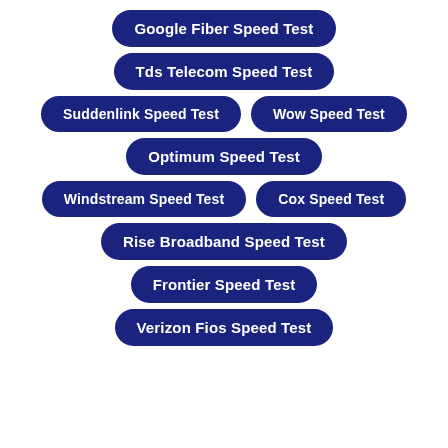Google Fiber Speed Test
Tds Telecom Speed Test
Suddenlink Speed Test
Wow Speed Test
Optimum Speed Test
Windstream Speed Test
Cox Speed Test
Rise Broadband Speed Test
Frontier Speed Test
Verizon Fios Speed Test